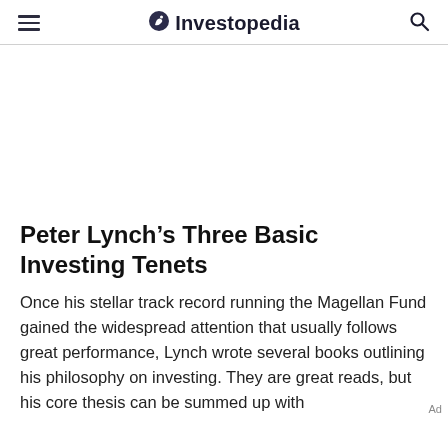Investopedia
Peter Lynch’s Three Basic Investing Tenets
Once his stellar track record running the Magellan Fund gained the widespread attention that usually follows great performance, Lynch wrote several books outlining his philosophy on investing. They are great reads, but his core thesis can be summed up with